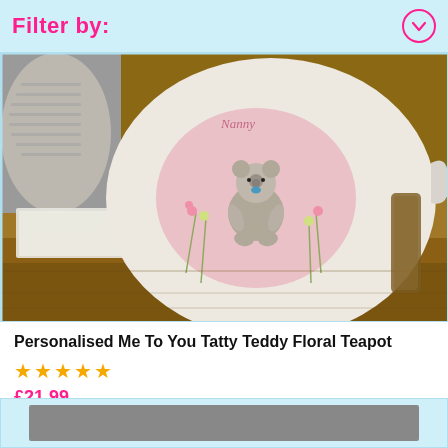Filter by:
[Figure (photo): Close-up photo of a personalised Me To You Tatty Teddy Floral Teapot on a wooden surface. The white teapot features a pink floral design with the Tatty Teddy bear character. A grey textured pot and white napkin are visible in the background.]
Personalised Me To You Tatty Teddy Floral Teapot
★★★★★
£21.99
[Figure (photo): Bottom portion of a second product card, partially visible.]